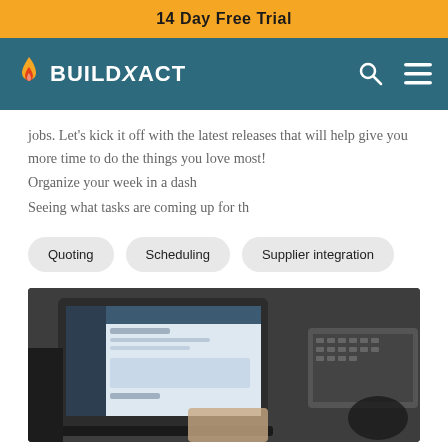14 Day Free Trial
[Figure (logo): Buildxact logo with flame icon on teal navigation bar with search and menu icons]
jobs. Let's kick it off with the latest releases that will help give you more time to do the things you love most!
Organize your week in a dash
Seeing what tasks are coming up for th
Quoting
Scheduling
Supplier integration
[Figure (photo): Person using a laptop showing a software interface, with a keyboard visible in the background]